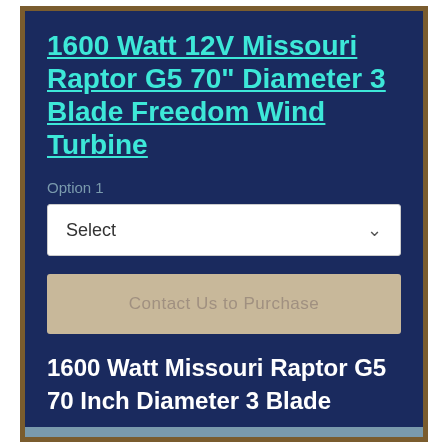1600 Watt 12V Missouri Raptor G5 70" Diameter 3 Blade Freedom Wind Turbine
Option 1
[Figure (other): Dropdown select box with 'Select' label and chevron arrow]
[Figure (other): Button: Contact Us to Purchase]
1600 Watt Missouri Raptor G5 70 Inch Diameter 3 Blade